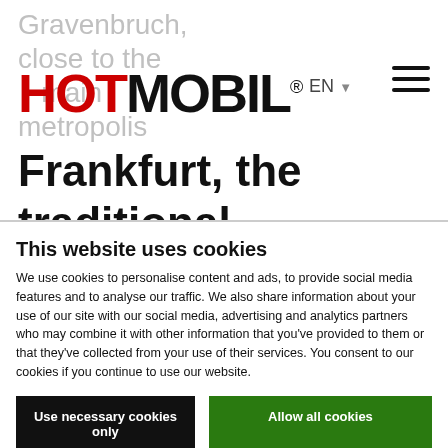[Figure (logo): Hotmobil logo with HOT in red and MOBIL in black, bold, large font]
Gravenbruch, close to the main metropolis Frankfurt, the traditional Kempinski Hotel nestles at the heart of a 15 hectare park with lake.
This website uses cookies
We use cookies to personalise content and ads, to provide social media features and to analyse our traffic. We also share information about your use of our site with our social media, advertising and analytics partners who may combine it with other information that you've provided to them or that they've collected from your use of their services. You consent to our cookies if you continue to use our website.
Use necessary cookies only
Allow all cookies
Show details